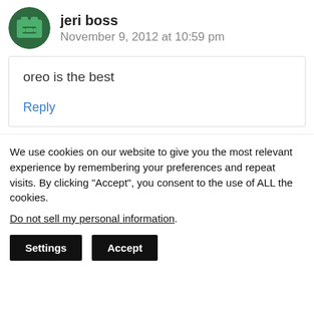jeri boss
November 9, 2012 at 10:59 pm
oreo is the best
Reply
We use cookies on our website to give you the most relevant experience by remembering your preferences and repeat visits. By clicking “Accept”, you consent to the use of ALL the cookies.
Do not sell my personal information.
Settings
Accept